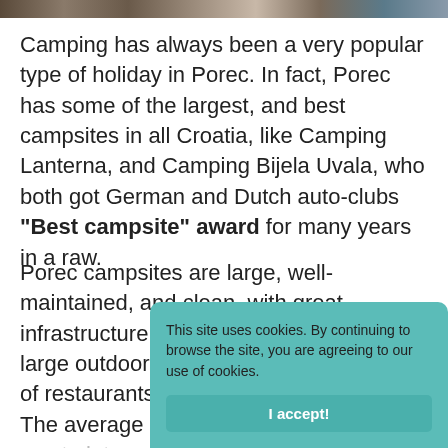[Figure (photo): Partial photo strip at top of page showing outdoor/camping scene]
Camping has always been a very popular type of holiday in Porec. In fact, Porec has some of the largest, and best campsites in all Croatia, like Camping Lanterna, and Camping Bijela Uvala, who both got German and Dutch auto-clubs "Best campsite" award for many years in a raw.
Porec campsites are large, well-maintained, and clean, with great infrastructure including modern toilets, large outdoor swimming pools, a variety of restaurants, and shops to offer. The average plot is around 120m2 and most plots have an electric and water hookup; some plots also provide drainage.
This site uses cookies. By continuing to browse the site, you are agreeing to our use of cookies.
I accept!